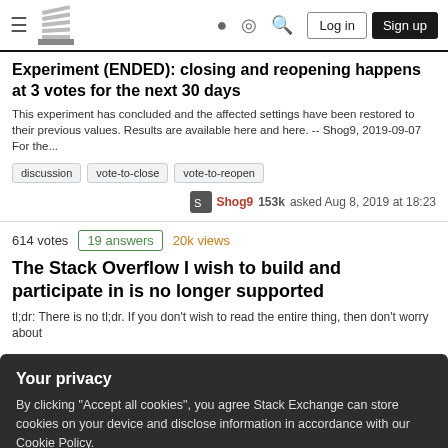Stack Overflow navigation bar with hamburger menu, logo, help, chat, search icons, Log in and Sign up buttons
Experiment (ENDED): closing and reopening happens at 3 votes for the next 30 days
This experiment has concluded and the affected settings have been restored to their previous values. Results are available here and here. -- Shog9, 2019-09-07 For the...
discussion
vote-to-close
vote-to-reopen
Shog9 153k asked Aug 8, 2019 at 18:23
614 votes  19 answers  20k views
The Stack Overflow I wish to build and participate in is no longer supported
tl;dr: There is no tl;dr. If you don't wish to read the entire thing, then don't worry about
Your privacy
By clicking "Accept all cookies", you agree Stack Exchange can store cookies on your device and disclose information in accordance with our Cookie Policy.
Accept all cookies
Customize settings
378 votes  26 answers  19k views